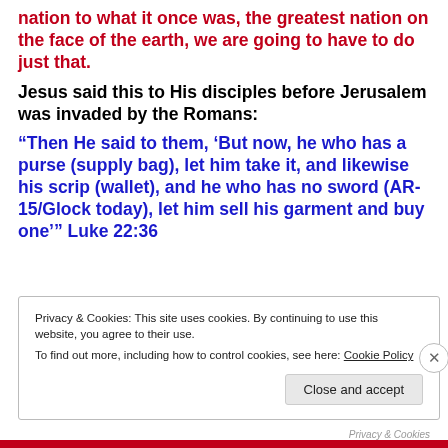nation to what it once was, the greatest nation on the face of the earth, we are going to have to do just that.
Jesus said this to His disciples before Jerusalem was invaded by the Romans:
“Then He said to them, ‘But now, he who has a purse (supply bag), let him take it, and likewise his scrip (wallet), and he who has no sword (AR-15/Glock today), let him sell his garment and buy one’” Luke 22:36
Privacy & Cookies: This site uses cookies. By continuing to use this website, you agree to their use.
To find out more, including how to control cookies, see here: Cookie Policy